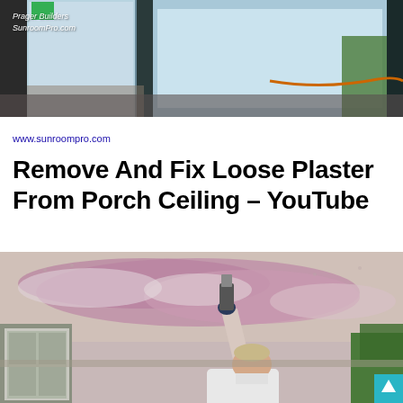[Figure (photo): Top photo showing a sunroom or porch interior with glass panels and construction materials, with overlay text 'Prager Builders SunroomPro.com']
www.sunroompro.com
Remove And Fix Loose Plaster From Porch Ceiling – YouTube
[Figure (photo): Photo of a man reaching up with a scraper/putty knife to remove loose plaster from a porch ceiling that shows pink/purple patchy areas where plaster is coming off]